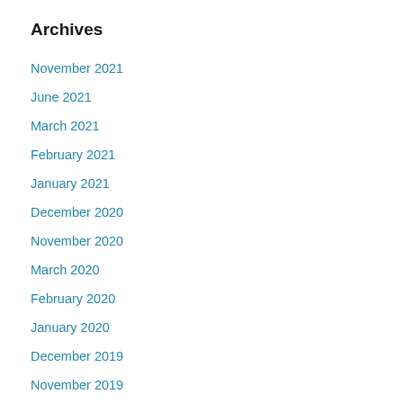Archives
November 2021
June 2021
March 2021
February 2021
January 2021
December 2020
November 2020
March 2020
February 2020
January 2020
December 2019
November 2019